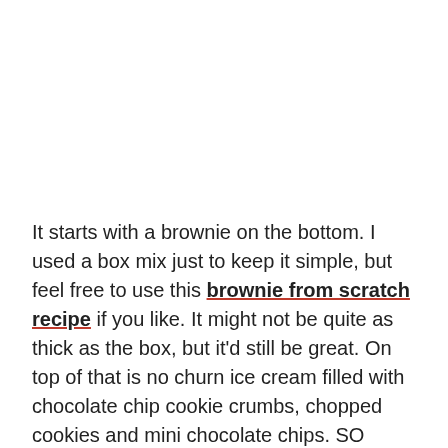It starts with a brownie on the bottom. I used a box mix just to keep it simple, but feel free to use this brownie from scratch recipe if you like. It might not be quite as thick as the box, but it'd still be great. On top of that is no churn ice cream filled with chocolate chip cookie crumbs, chopped cookies and mini chocolate chips. SO good! To get the crumbs I just popped some crunchy cookies into a food processor and let it grind 'em up!